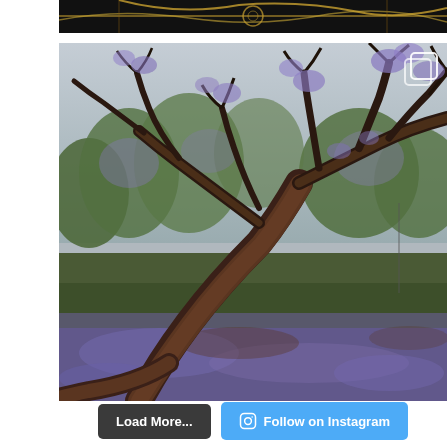[Figure (photo): Partial view of a dark decorative image with gold geometric/ornamental pattern on black background, cropped at top of page]
[Figure (photo): Outdoor photograph of jacaranda trees in a park. A large tree leans diagonally across the foreground with bare dark branches. Purple/violet fallen petals cover the ground. Green trees visible in background under overcast sky. Multi-photo gallery icon (two overlapping squares) visible in top-right corner.]
[Figure (other): Load More button (dark grey rounded rectangle) and Follow on Instagram button (blue rounded rectangle with Instagram camera icon)]